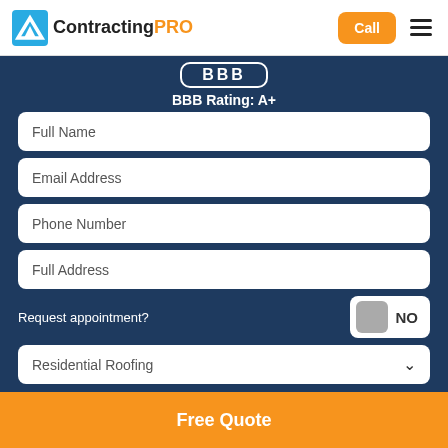[Figure (logo): ContractingPRO logo with blue/white chevron icon and orange PRO text]
Call
BBB Rating: A+
Full Name
Email Address
Phone Number
Full Address
Request appointment? NO
Residential Roofing
Free Quote